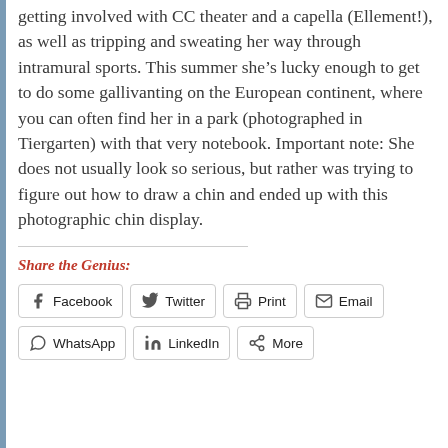getting involved with CC theater and a capella (Ellement!), as well as tripping and sweating her way through intramural sports. This summer she’s lucky enough to get to do some gallivanting on the European continent, where you can often find her in a park (photographed in Tiergarten) with that very notebook. Important note: She does not usually look so serious, but rather was trying to figure out how to draw a chin and ended up with this photographic chin display.
Share the Genius:
Facebook
Twitter
Print
Email
WhatsApp
LinkedIn
More